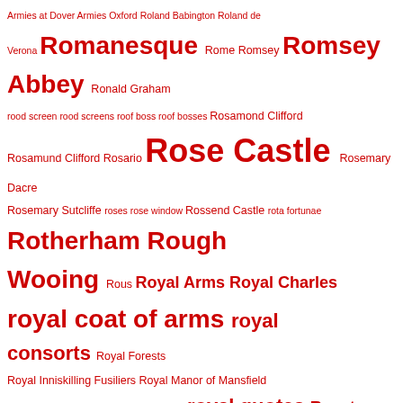Armies at Dover Armies Oxford Roland Babington Roland de Verona Romanesque Rome Romsey Romsey Abbey Ronald Graham rood screen rood screens roof boss roof bosses Rosamond Clifford Rosamund Clifford Rosario Rose Castle Rosemary Dacre Rosemary Sutcliffe roses rose window Rossend Castle rota fortunae Rotherham Rough Wooing Rous Royal Arms Royal Charles royal coat of arms royal consorts Royal Forests Royal Inniskilling Fusiliers Royal Manor of Mansfield Royal Manor of Tanshelf Royal Oak royal quotes Roystone Grange Rufford Abbey Rule of St Benedict Rupert of the Rhine Russian rhubarb Rutland Archive Rycote Rye House Plot Sabrina de Applegarth saddle bar Saint-Evroul Abbey Saladin salamander corbel Salic Laws Salisbury Saltmarsh Salvin Samuel Pepys Sanchia of Provence Sanctuary Plot Sandal Castle San Felipe Sarah Churchill Sarah Jennings satire Saturnalia Savignac monks Saxon Kings Saxton Church scandalous chronicle Scarborough Scarborough Castle Schakell Schlieffen Plan Scotch Gate Scotland Scotland's Churches Trust Scots' pine Scottish Wars of Independence Scottish West March